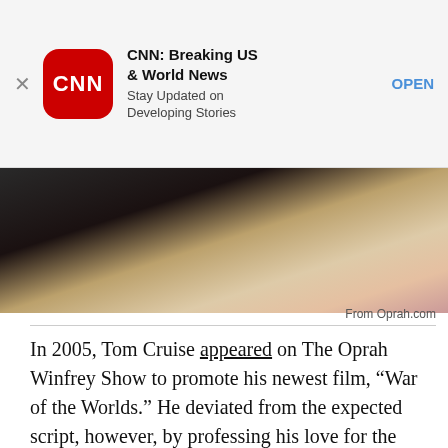[Figure (screenshot): CNN app advertisement banner with CNN red rounded-square logo, title 'CNN: Breaking US & World News', subtitle 'Stay Updated on Developing Stories', and an OPEN button link]
[Figure (photo): Partial photo showing two people seated, cropped — appears to be from Oprah.com showing Tom Cruise and Oprah Winfrey on a couch]
From Oprah.com
In 2005, Tom Cruise appeared on The Oprah Winfrey Show to promote his newest film, “War of the Worlds.” He deviated from the expected script, however, by professing his love for the actress Katie Holmes and, in a fit of excitement, jumping on Oprah’s couch. The event resulted in what has been described as “one of the first celebrity memes.”
Clips of the jump quickly spread across the internet. As the “Today” show noted 10 years later, the